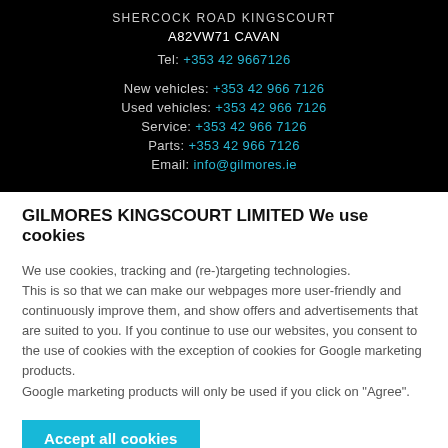SHERCOCK ROAD KINGSCOURT
A82VW71 CAVAN
Tel: +353 42 9667126
New vehicles: +353 42 966 7126
Used vehicles: +353 42 966 7126
Service: +353 42 966 7126
Parts: +353 42 966 7126
Email: info@gilmores.ie
GILMORES KINGSCOURT LIMITED We use cookies
We use cookies, tracking and (re-)targeting technologies. This is so that we can make our webpages more user-friendly and continuously improve them, and show offers and advertisements that are suited to you. If you continue to use our websites, you consent to the use of cookies with the exception of cookies for Google marketing products. Google marketing products will only be used if you click on "Agree".
Accept all cookies
Cookie Information